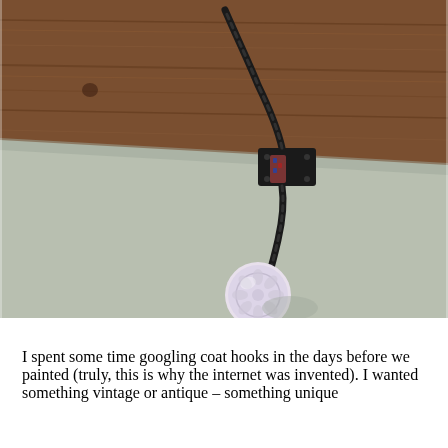[Figure (photo): Close-up photo of a decorative coat hook mounted on a rustic wooden plank. The hook consists of a twisted black metal rod attached to a black rectangular wall plate, with a white ceramic floral knob at the end. The background shows a pale green/grey wall below the wooden plank.]
I spent some time googling coat hooks in the days before we painted (truly, this is why the internet was invented). I wanted something vintage or antique – something unique